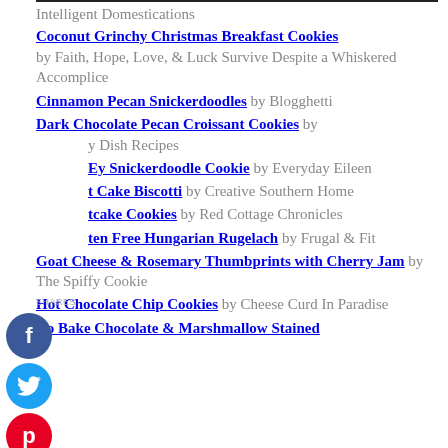Intelligent Domestications
Coconut Grinchy Christmas Breakfast Cookies by Faith, Hope, Love, & Luck Survive Despite a Whiskered Accomplice
Cinnamon Pecan Snickerdoodles by Blogghetti
Dark Chocolate Pecan Croissant Cookies by y Dish Recipes
Ey Snickerdoodle Cookie by Everyday Eileen
t Cake Biscotti by Creative Southern Home
tcake Cookies by Red Cottage Chronicles
ten Free Hungarian Rugelach by Frugal & Fit
Goat Cheese & Rosemary Thumbprints with Cherry Jam by The Spiffy Cookie
Hot Chocolate Chip Cookies by Cheese Curd In Paradise
No Bake Chocolate & Marshmallow Stained